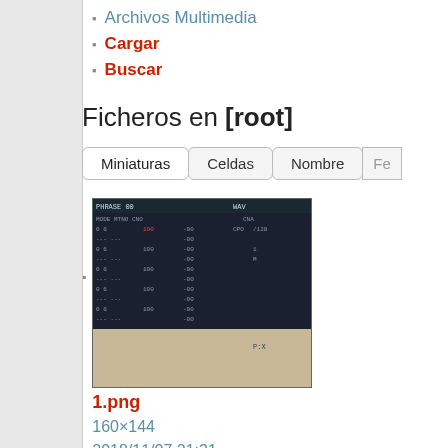Archivos Multimedia
Cargar
Buscar
Ficheros en [root]
| Miniaturas | Celdas | Nombre | Fe... |
| --- | --- | --- | --- |
[Figure (screenshot): Thumbnail of 1.png showing a music tracker/sequencer interface with columns of numbers and controls]
1.png
160×144
2018/11/07 21:31
2.2 KB
[Figure (other): Sort icon (up/down arrows)]
12.png